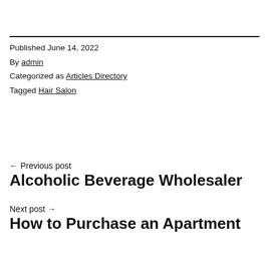Published June 14, 2022
By admin
Categorized as Articles Directory
Tagged Hair Salon
← Previous post
Alcoholic Beverage Wholesaler
Next post →
How to Purchase an Apartment